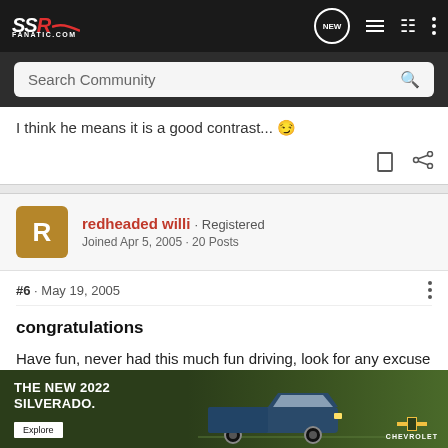SSR FANATIC.COM – navigation bar with NEW, list, user, menu icons
Search Community
I think he means it is a good contrast... 😉
user card: redheaded willi · Registered · Joined Apr 5, 2005 · 20 Posts
#6 · May 19, 2005
congratulations
Have fun, never had this much fun driving, look for any excuse to drive it, my spouse is till trying to keep it in the garage long enough
[Figure (screenshot): Advertisement for The New 2022 Silverado by Chevrolet with truck image and Explore button]